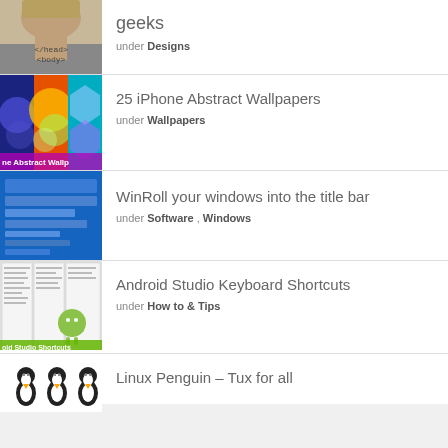geeks
under Designs
25 iPhone Abstract Wallpapers
under Wallpapers
WinRoll your windows into the title bar
under Software, Windows
Android Studio Keyboard Shortcuts
under How to & Tips
Linux Penguin – Tux for all